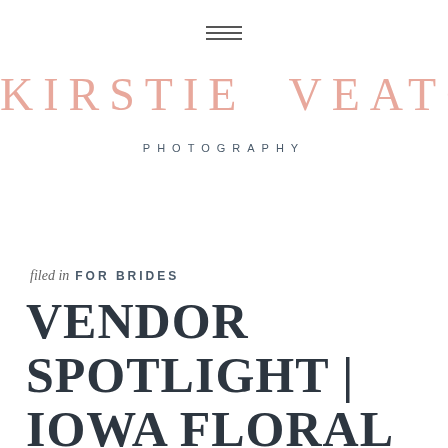[Figure (logo): Hamburger menu icon: three horizontal lines centered at top of page]
KIRSTIE VEATCH
PHOTOGRAPHY
filed in  FOR BRIDES
VENDOR SPOTLIGHT | IOWA FLORAL DESIGNER